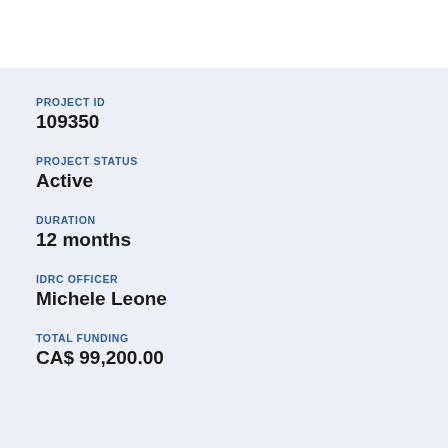PROJECT ID
109350
PROJECT STATUS
Active
DURATION
12 months
IDRC OFFICER
Michele Leone
TOTAL FUNDING
CA$ 99,200.00